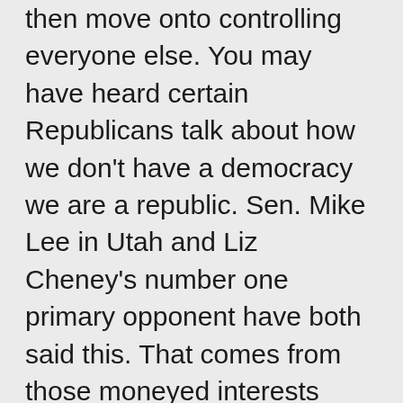then move onto controlling everyone else. You may have heard certain Republicans talk about how we don't have a democracy we are a republic. Sen. Mike Lee in Utah and Liz Cheney's number one primary opponent have both said this. That comes from those moneyed interests who want to end democracy.
Hopefully the people will figure out that they need to stop electing these crazies, and realize that Republicans have no secret plan to fight global inflation that has arisen due to changes in spending